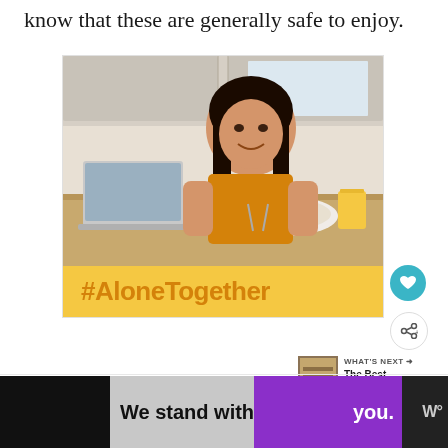know that these are generally safe to enjoy.
[Figure (photo): Advertisement featuring a smiling young woman in a yellow shirt eating breakfast in a kitchen, with a laptop nearby and a glass of orange juice. Below the photo is a yellow banner with '#AloneTogether' in orange text.]
[Figure (infographic): "WHAT'S NEXT" teaser with a thumbnail image and text 'The Best Gluten-free...']
[Figure (infographic): Bottom banner advertisement with black, gray, and purple sections reading 'We stand with you.' and a logo on the right.]